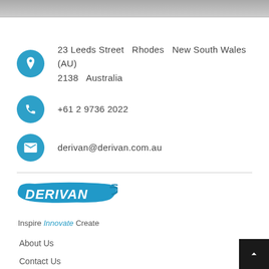[Figure (photo): Top portion of a photo, showing a grey/blurred image at the top of the page]
23 Leeds Street  Rhodes  New South Wales (AU)
2138  Australia
+61 2 9736 2022
derivan@derivan.com.au
[Figure (logo): Derivan logo with blue paint brush stroke background and white bold italic text 'DERIVAN']
Inspire Innovate Create
About Us
Contact Us
Customer Service